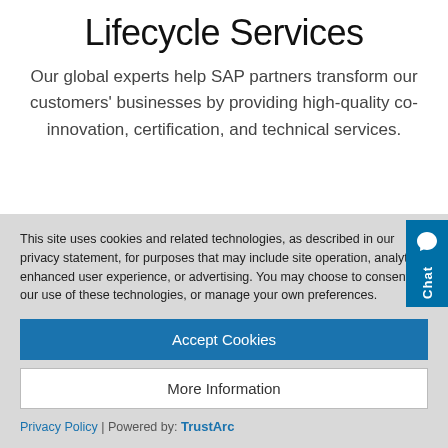Lifecycle Services
Our global experts help SAP partners transform our customers' businesses by providing high-quality co-innovation, certification, and technical services.
[Figure (other): Blue chat button widget on the right side of the page with a speech bubble icon and 'Chat' text rotated vertically]
This site uses cookies and related technologies, as described in our privacy statement, for purposes that may include site operation, analytics, enhanced user experience, or advertising. You may choose to consent to our use of these technologies, or manage your own preferences.
Accept Cookies
More Information
Privacy Policy | Powered by: TrustArc